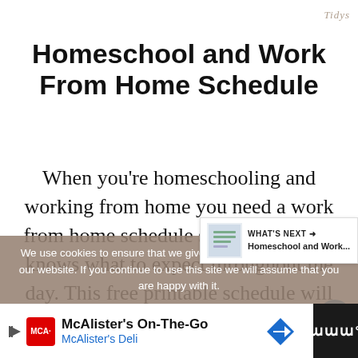Tidys
Homeschool and Work From Home Schedule
When you're homeschooling and working from home you need a work from home schedule so that everyone knows what to expect throughout the day. This free printable schedule will help keep
We use cookies to ensure that we give you the best experience on our website. If you continue to use this site we will assume that you are happy with it.
WHAT'S NEXT → Homeschool and Work...
McAlister's On-The-Go
McAlister's Deli